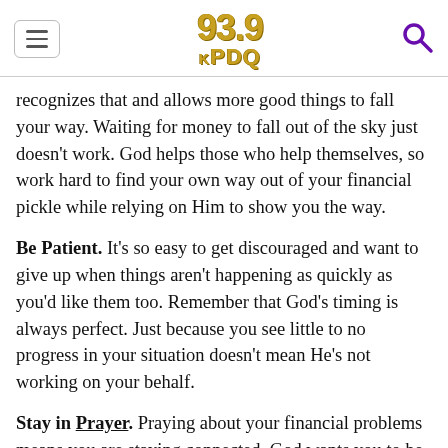93.9 KPDQ
recognizes that and allows more good things to fall your way. Waiting for money to fall out of the sky just doesn’t work. God helps those who help themselves, so work hard to find your own way out of your financial pickle while relying on Him to show you the way.
Be Patient. It’s so easy to get discouraged and want to give up when things aren’t happening as quickly as you’d like them too. Remember that God’s timing is always perfect. Just because you see little to no progress in your situation doesn’t mean He’s not working on your behalf.
Stay in Prayer. Praying about your financial problems means you are staying connected. God wants you to be connected to Him at all times and in all situations. In John